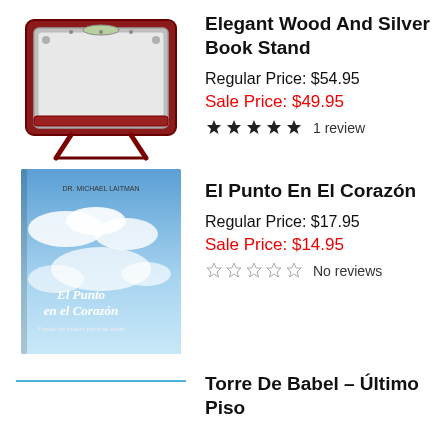[Figure (photo): Elegant wood and silver book stand product image]
Elegant Wood And Silver Book Stand
Regular Price: $54.95
Sale Price: $49.95
★★★★★ 1 review
[Figure (photo): El Punto En El Corazón book cover showing sky with clouds]
El Punto En El Corazón
Regular Price: $17.95
Sale Price: $14.95
☆☆☆☆☆ No reviews
Torre De Babel – Último Piso